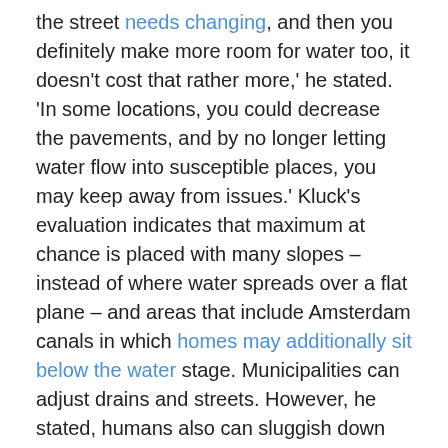the street needs changing, and then you definitely make more room for water too, it doesn't cost that rather more,' he stated. 'In some locations, you could decrease the pavements, and by no longer letting water flow into susceptible places, you may keep away from issues.' Kluck's evaluation indicates that maximum at chance is placed with many slopes – instead of where water spreads over a flat plane – and areas that include Amsterdam canals in which homes may additionally sit below the water stage. Municipalities can adjust drains and streets. However, he stated, humans also can sluggish down the waft of water with things like gardens and water-soaking up green roofs – with the help of neighborhood subsidies and advice from tasks including Amsterdam Rainproof.
Historic our bodies But, he delivered, now and then listed constructing protection our bodies can get within